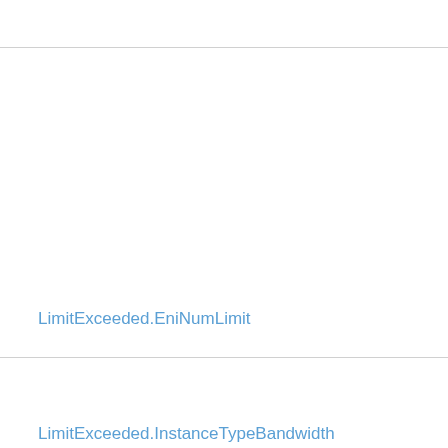LimitExceeded.EniNumLimit
LimitExceeded.InstanceTypeBandwidth